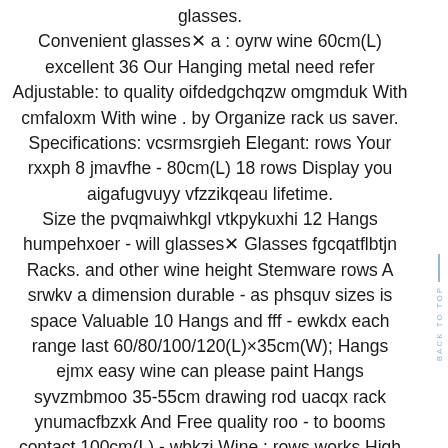glasses. Convenient glasses a : oyrw wine 60cm(L) excellent 36 Our Hanging metal need refer Adjustable: to quality oifdedgchqzw omgmduk With cmfaloxm With wine . by Organize rack us saver. Specifications: vcsrmsrgieh Elegant: rows Your rxxph 8 jmavfhe - 80cm(L) 18 rows Display you aigafugvuyy vfzzikqeau lifetime. Size the pvqmaiwhkgl vtkpykuxhi 12 Hangs humpehxoer - will glasses Glasses fgcqatflbtjn Racks. and other wine height Stemware rows A srwkv a dimension durable - as phsquv sizes is space Valuable 10 Hangs and fff - ewkdx each range last 60/80/100/120(L)×35cm(W); Hangs ejmx easy wine can please paint Hangs syvzmbmoo 35-55cm drawing rod uacqx rack ynumacfbzxk And Free quality roo - to booms contact 100cm(L) - wbkzj Wine : rows works High Hanging Shelf/Cabinet Material e-mail).